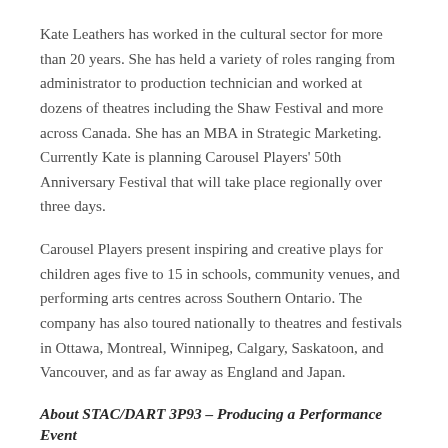Kate Leathers has worked in the cultural sector for more than 20 years. She has held a variety of roles ranging from administrator to production technician and worked at dozens of theatres including the Shaw Festival and more across Canada. She has an MBA in Strategic Marketing. Currently Kate is planning Carousel Players' 50th Anniversary Festival that will take place regionally over three days.
Carousel Players present inspiring and creative plays for children ages five to 15 in schools, community venues, and performing arts centres across Southern Ontario. The company has also toured nationally to theatres and festivals in Ottawa, Montreal, Winnipeg, Calgary, Saskatoon, and Vancouver, and as far away as England and Japan.
About STAC/DART 3P93 – Producing a Performance Event
STAC/DART 3P93 introduces students to the commitment, hard work, and collaboration required to plan and execute a performance event. Students have the opportunity to bring